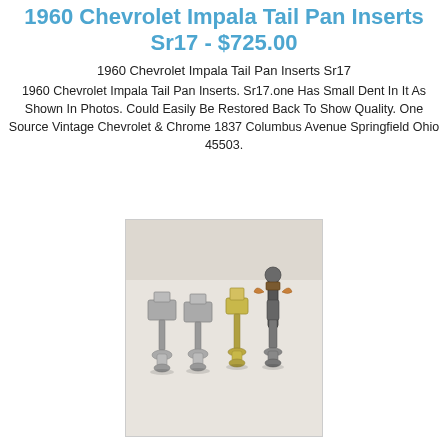1960 Chevrolet Impala Tail Pan Inserts Sr17 - $725.00
1960 Chevrolet Impala Tail Pan Inserts Sr17
1960 Chevrolet Impala Tail Pan Inserts. Sr17.one Has Small Dent In It As Shown In Photos. Could Easily Be Restored Back To Show Quality. One Source Vintage Chevrolet & Chrome 1837 Columbus Avenue Springfield Ohio 45503.
[Figure (photo): Four metal tail pan insert clips/fasteners arranged in a row on a white/light gray background. Items appear to be chrome or zinc plated hardware pieces of varying sizes.]